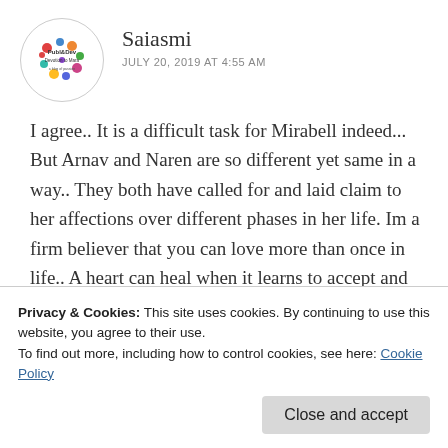Saiasmi
JULY 20, 2019 AT 4:55 AM
I agree.. It is a difficult task for Mirabell indeed... But Arnav and Naren are so different yet same in a way.. They both have called for and laid claim to her affections over different phases in her life. Im a firm believer that you can love more than once in life.. A heart can heal when it learns to accept and when it is ready to
Privacy & Cookies: This site uses cookies. By continuing to use this website, you agree to their use.
To find out more, including how to control cookies, see here: Cookie Policy
Close and accept
Reply